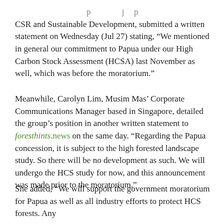CSR and Sustainable Development, submitted a written statement on Wednesday (Jul 27) stating, “We mentioned in general our commitment to Papua under our High Carbon Stock Assessment (HCSA) last November as well, which was before the moratorium.”
Meanwhile, Carolyn Lim, Musim Mas’ Corporate Communications Manager based in Singapore, detailed the group’s position in another written statement to foresthints.news on the same day. “Regarding the Papua concession, it is subject to the high forested landscape study. So there will be no development as such. We will undergo the HCS study for now, and this announcement was made prior to the moratorium.”
She added, “We will support the government moratorium for Papua as well as all industry efforts to protect HCS forests. Any...